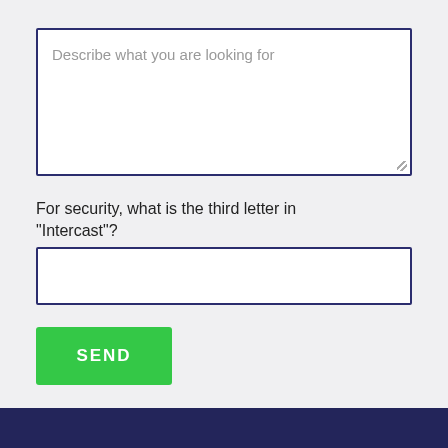Describe what you are looking for
For security, what is the third letter in "Intercast"?
SEND